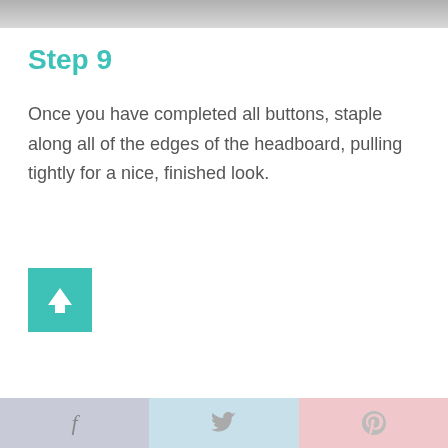[Figure (photo): Top cropped photo of a headboard project, gray tones]
Step 9
Once you have completed all buttons, staple along all of the edges of the headboard, pulling tightly for a nice, finished look.
[Figure (other): Teal square button with upward arrow icon]
f  (twitter bird)  p